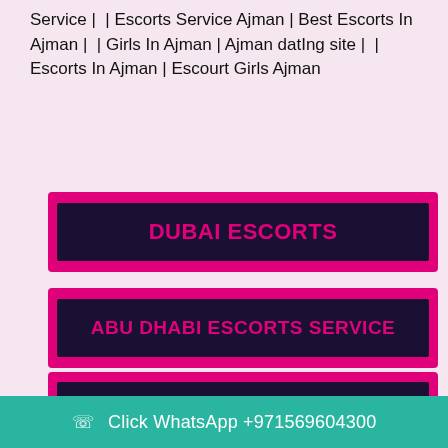Service |  | Escorts Service Ajman | Best Escorts In Ajman |  | Girls In Ajman | Ajman datIng site |  | Escorts In Ajman | Escourt Girls Ajman
[Figure (other): Pink bordered button with dark navy background containing bold pink text reading DUBAI ESCORTS]
[Figure (other): Pink bordered button with dark navy background containing bold pink text reading ABU DHABI ESCORTS SERVICE]
[Figure (other): Pink bordered button with dark navy background containing bold pink text reading DUBAI ESCORTS SERVICE]
[Figure (other): Pink bordered button with dark navy background, partially cut off at bottom, with a teal WhatsApp bar reading: Click WhatsApp +971569604300]